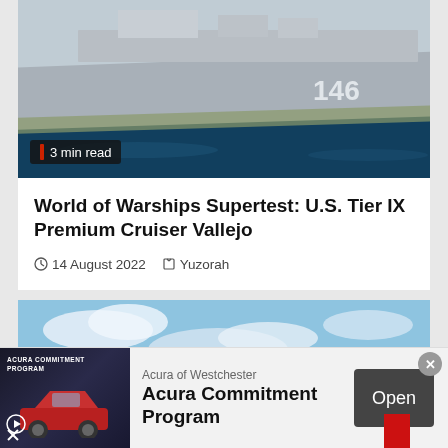[Figure (photo): Screenshot of a World of Warships game showing a naval warship (cruiser numbered 146) sailing on open sea water, viewed from above-side angle. A '3 min read' badge is overlaid in the bottom left corner of the image.]
World of Warships Supertest: U.S. Tier IX Premium Cruiser Vallejo
14 August 2022   Yuzorah
[Figure (photo): Screenshot of a World of Warships game showing a naval warship at sea under a cloudy blue sky, with a red flag or banner partially visible in the bottom right corner.]
Acura of Westchester
Acura Commitment Program
Open